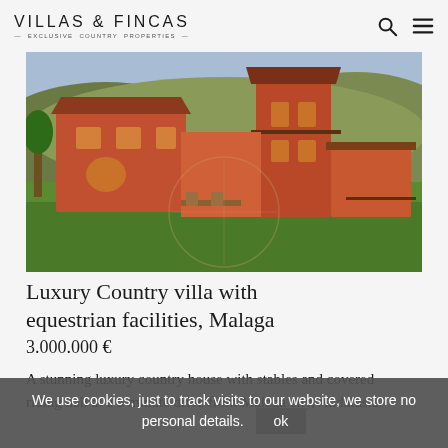VILLAS & FINCAS — EXCLUSIVE COUNTRY PROPERTIES
[Figure (photo): Exterior photo of a luxury Spanish country villa with red/terracotta walls, tiled roof, large green lawn, and hills in the background. A watermark circle is visible in the center.]
Luxury Country villa with equestrian facilities, Malaga
3.000.000 €
A stunning luxury country house with stables and covered riding hall at a 5 minute drive from Malaga city, Andalusia.
We use cookies, just to track visits to our website, we store no personal details. ok